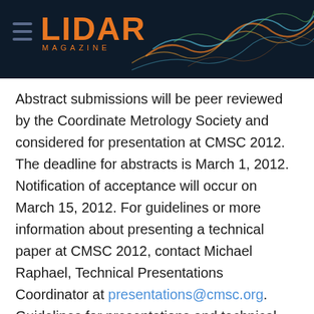LIDAR MAGAZINE
Abstract submissions will be peer reviewed by the Coordinate Metrology Society and considered for presentation at CMSC 2012. The deadline for abstracts is March 1, 2012. Notification of acceptance will occur on March 15, 2012. For guidelines or more information about presenting a technical paper at CMSC 2012, contact Michael Raphael, Technical Presentations Coordinator at presentations@cmsc.org. Guidelines for presentations and technical papers can be downloaded at 2012 CMSC Guidelines. The CMS Executive Committee will review all technical papers presented at the CMSC, and select the conferences best papers for publication in The